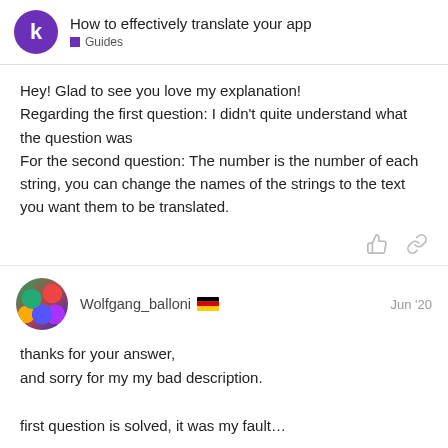How to effectively translate your app — Guides
Hey! Glad to see you love my explanation!
Regarding the first question: I didn't quite understand what the question was
For the second question: The number is the number of each string, you can change the names of the strings to the text you want them to be translated.
Wolfgang_balloni 🇩🇪  Jun '20
thanks for your answer,
and sorry for my my bad description.

first question is solved, it was my fault…

second question, i´ll try to describe it be...
for "labels" and "text boxes" i find a "set...